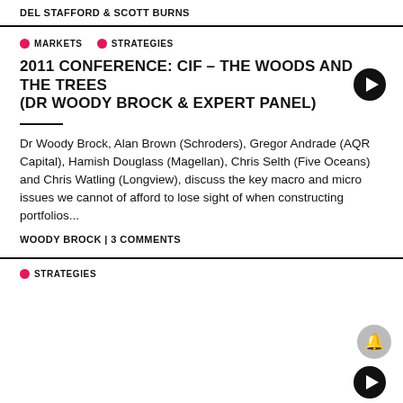DEL STAFFORD & SCOTT BURNS
MARKETS   STRATEGIES
2011 CONFERENCE: CIF – THE WOODS AND THE TREES (DR WOODY BROCK & EXPERT PANEL)
Dr Woody Brock, Alan Brown (Schroders), Gregor Andrade (AQR Capital), Hamish Douglass (Magellan), Chris Selth (Five Oceans) and Chris Watling (Longview), discuss the key macro and micro issues we cannot of afford to lose sight of when constructing portfolios...
WOODY BROCK | 3 COMMENTS
STRATEGIES